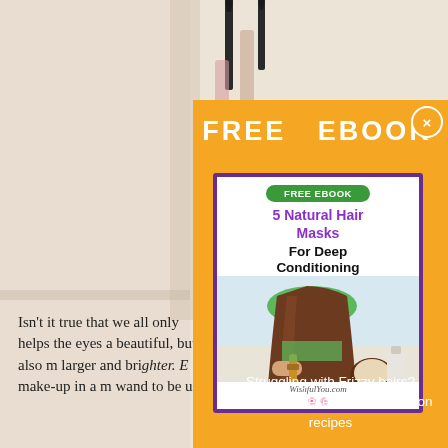[Figure (photo): Background photo showing cream/beige interior with pencil-like objects, partially visible behind orange overlay]
Isn't it true that we all want to look our best? Not only helps the eyes and helps us look more beautiful, but also makes our eyes appear larger and brighter. Eye make-up in a minute requires the mascara make-up in a minute requires the mascara wand to be used swiftly and with care
[Figure (infographic): Orange popup overlay with FREE EBOOK header, a book cover showing '5 Natural Hair Masks For Deep Conditioning' with green FREE EBOOK badge, image of woman brushing hair with coconut, WishfulYou.com branding, and text 'Struggling with Frizzy hairs? Start using these 5 deep condition recipes']
FREE   EBOOK
[Figure (illustration): Book cover: '5 Natural Hair Masks For Deep Conditioning' - purple border, green FREE EBOOK badge, purple title text, black subtitle, photo of woman brushing long brown hair with coconut and bottle, WishfulYou.com]
Struggling with Frizzy hairs? Start using these 5 deep condition recipes